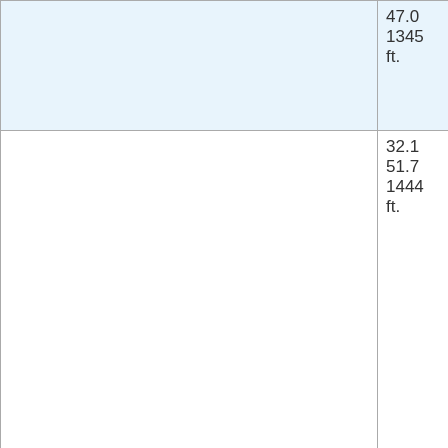|  | 47.0
1345
ft. | Bridge |
|  | 32.1
51.7
1444
ft. | Concordia,
Kansas |